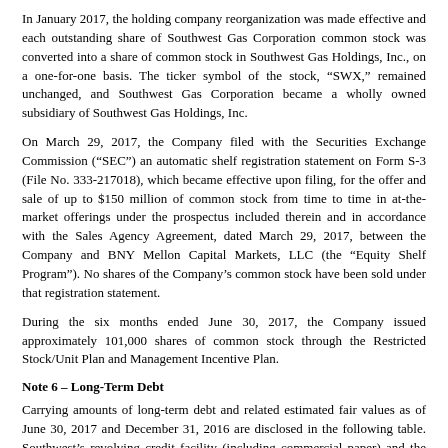In January 2017, the holding company reorganization was made effective and each outstanding share of Southwest Gas Corporation common stock was converted into a share of common stock in Southwest Gas Holdings, Inc., on a one-for-one basis. The ticker symbol of the stock, “SWX,” remained unchanged, and Southwest Gas Corporation became a wholly owned subsidiary of Southwest Gas Holdings, Inc.
On March 29, 2017, the Company filed with the Securities Exchange Commission (“SEC”) an automatic shelf registration statement on Form S-3 (File No. 333-217018), which became effective upon filing, for the offer and sale of up to $150 million of common stock from time to time in at-the-market offerings under the prospectus included therein and in accordance with the Sales Agency Agreement, dated March 29, 2017, between the Company and BNY Mellon Capital Markets, LLC (the “Equity Shelf Program”). No shares of the Company’s common stock have been sold under that registration statement.
During the six months ended June 30, 2017, the Company issued approximately 101,000 shares of common stock through the Restricted Stock/Unit Plan and Management Incentive Plan.
Note 6 – Long-Term Debt
Carrying amounts of long-term debt and related estimated fair values as of June 30, 2017 and December 31, 2016 are disclosed in the following table. Southwest’s revolving credit facility (including commercial paper) and the variable-rate Industrial Development Revenue Bonds (“IDRBs”) approximate their carrying values, as they are repaid quickly (in the case of credit facility borrowings) and have interest rates that reset frequently. These are categorized